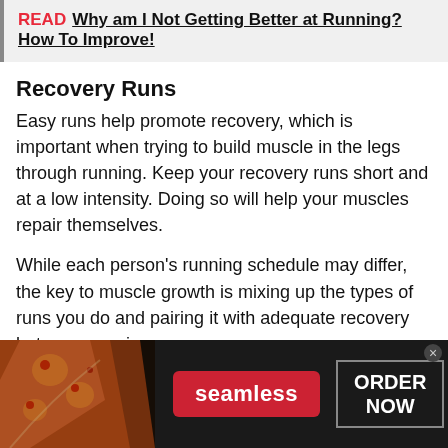READ  Why am I Not Getting Better at Running? How To Improve!
Recovery Runs
Easy runs help promote recovery, which is important when trying to build muscle in the legs through running. Keep your recovery runs short and at a low intensity. Doing so will help your muscles repair themselves.
While each person's running schedule may differ, the key to muscle growth is mixing up the types of runs you do and pairing it with adequate recovery between sessions.
[Figure (infographic): Advertisement banner for Seamless food delivery. Shows pizza image on left, red Seamless logo in center, and ORDER NOW button on right with a dark background.]